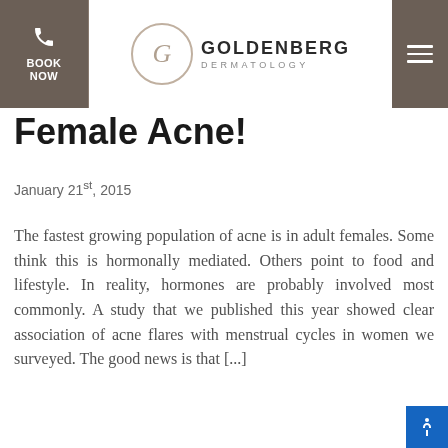BOOK NOW | GOLDENBERG DERMATOLOGY
Female Acne!
January 21st, 2015
The fastest growing population of acne is in adult females. Some think this is hormonally mediated. Others point to food and lifestyle. In reality, hormones are probably involved most commonly. A study that we published this year showed clear association of acne flares with menstrual cycles in women we surveyed. The good news is that [...]